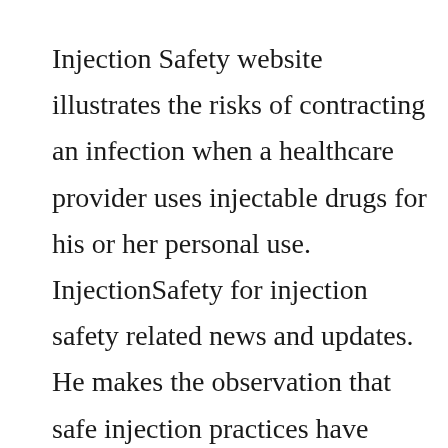Injection Safety website illustrates the risks of contracting an infection when a healthcare provider uses injectable drugs for his or her personal use. InjectionSafety for injection safety related news and updates. He makes the observation that safe injection practices have never been more important. Only educational campaign to greatly broaden its membership base, amplify reach to new audiences, and provide new resources to target settings in an effort to